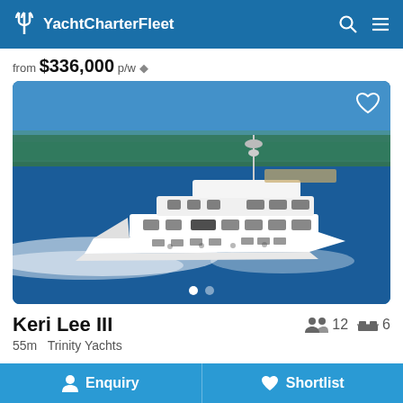YachtCharterFleet
from $336,000 p/w ◆
[Figure (photo): Aerial/side view of luxury motor yacht Keri Lee III underway on blue ocean water, white hull, multiple decks, with wooded shoreline in background.]
Keri Lee III
55m  Trinity Yachts
Enquiry  Shortlist